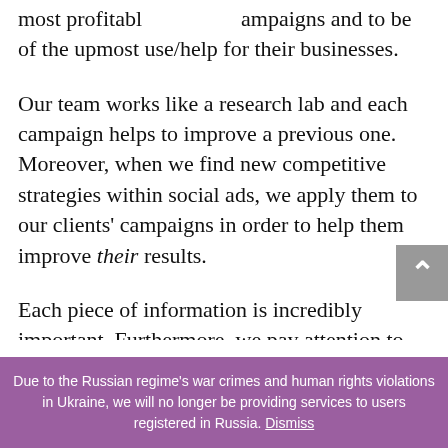most profitable campaigns and to be of the upmost use/help for their businesses.
Our team works like a research lab and each campaign helps to improve a previous one. Moreover, when we find new competitive strategies within social ads, we apply them to our clients’ campaigns in order to help them improve their results.
Each piece of information is incredibly important. Furthermore, we pay attention to constantly emerging behavioral patterns in order to improve campaign profits.
Due to the Russian regime's war crimes and human rights violations in Ukraine, we will no longer be providing services to users registered in Russia. Dismiss